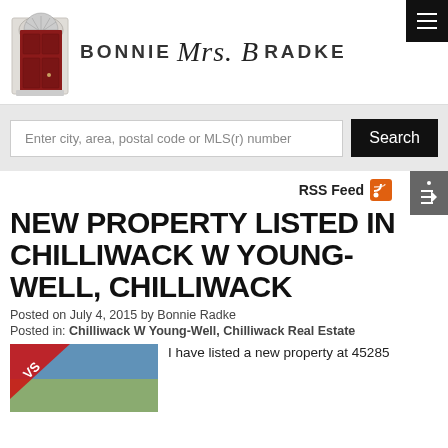BONNIE Mrs. B RADKE
Enter city, area, postal code or MLS(r) number
RSS Feed
NEW PROPERTY LISTED IN CHILLIWACK W YOUNG-WELL, CHILLIWACK
Posted on July 4, 2015 by Bonnie Radke
Posted in: Chilliwack W Young-Well, Chilliwack Real Estate
I have listed a new property at 45285